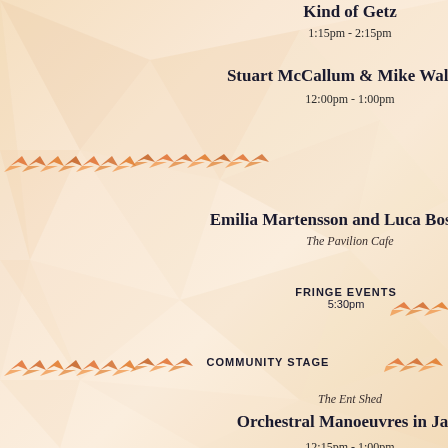Kind of Getz
1:15pm - 2:15pm
Stuart McCallum & Mike Walker
12:00pm - 1:00pm
FRINGE EVENTS
5:30pm
Emilia Martensson and Luca Boscagin
The Pavilion Cafe
COMMUNITY STAGE
The Ent Shed
Orchestral Manoeuvres in Jazz
12:15pm - 1:00pm
All 'bout Music
1:15pm - 2:00pm
The Ian Bufton Big Band
2:15pm - 3:00pm